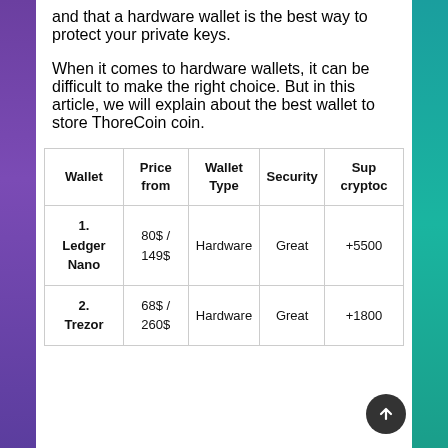and that a hardware wallet is the best way to protect your private keys.
When it comes to hardware wallets, it can be difficult to make the right choice. But in this article, we will explain about the best wallet to store ThoreCoin coin.
| Wallet | Price from | Wallet Type | Security | Sup cryptoc |
| --- | --- | --- | --- | --- |
| 1.
Ledger
Nano | 80$ /
149$ | Hardware | Great | +5500 |
| 2.
Trezor | 68$ /
260$ | Hardware | Great | +1800 |